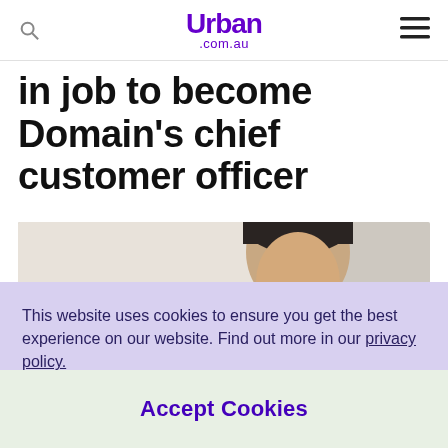Urban .com.au
in job to become Domain's chief customer officer
[Figure (photo): Close-up photo of an Asian man's face, cropped showing forehead, eyes and nose, with a light blurred background.]
This website uses cookies to ensure you get the best experience on our website. Find out more in our privacy policy.
Accept Cookies